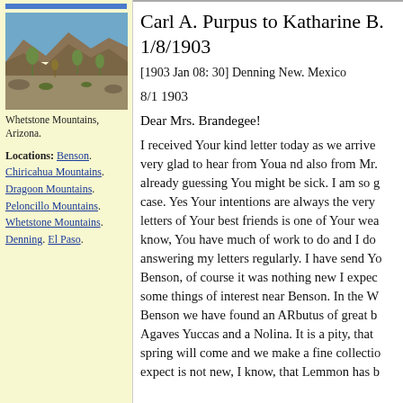[Figure (photo): Photograph of Whetstone Mountains, Arizona — rocky desert landscape with sparse vegetation and blue sky.]
Whetstone Mountains, Arizona.
Locations: Benson. Chiricahua Mountains. Dragoon Mountains. Peloncillo Mountains. Whetstone Mountains. Denning. El Paso.
Carl A. Purpus to Katharine B. 1/8/1903
[1903 Jan 08: 30] Denning New. Mexico
8/1 1903
Dear Mrs. Brandegee!
I received Your kind letter today as we arrive very glad to hear from Youa nd also from Mr. already guessing You might be sick. I am so g case. Yes Your intentions are always the very letters of Your best friends is one of Your wea know, You have much of work to do and I do answering my letters regularly. I have send Yo Benson, of course it was nothing new I expec some things of interest near Benson. In the W Benson we have found an ARbutus of great b Agaves Yuccas and a Nolina. It is a pity, that spring will come and we make a fine collectio expect is not new, I know, that Lemmon has b